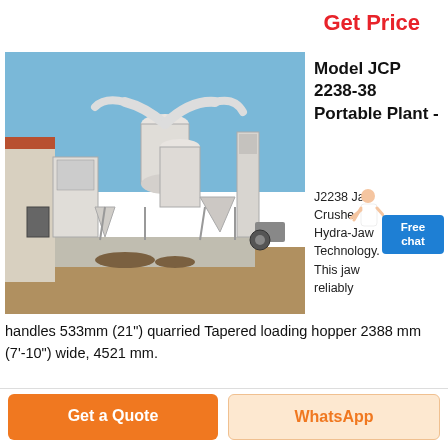Get Price
[Figure (photo): Outdoor industrial portable crushing plant with large silos, conveyor structures, dust collector, and white metal framework, with a warehouse building in the background under blue sky.]
Model JCP 2238-38 Portable Plant -
J2238 Jaw Crusher Hydra-Jaw Technology. This jaw reliably handles 533mm (21") quarried Tapered loading hopper 2388 mm (7'-10") wide, 4521 mm.
Get a Quote
WhatsApp